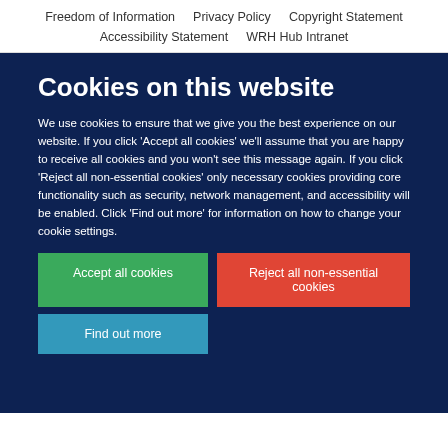Freedom of Information   Privacy Policy   Copyright Statement   Accessibility Statement   WRH Hub Intranet
Cookies on this website
We use cookies to ensure that we give you the best experience on our website. If you click 'Accept all cookies' we'll assume that you are happy to receive all cookies and you won't see this message again. If you click 'Reject all non-essential cookies' only necessary cookies providing core functionality such as security, network management, and accessibility will be enabled. Click 'Find out more' for information on how to change your cookie settings.
Accept all cookies
Reject all non-essential cookies
Find out more